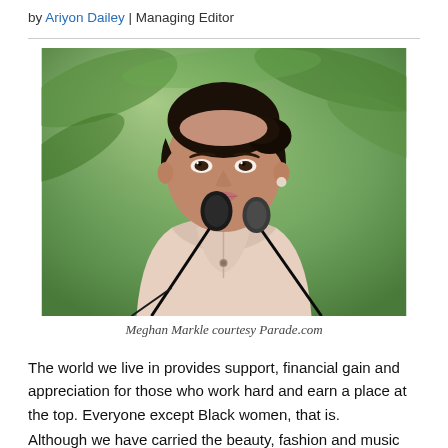by Ariyon Dailey | Managing Editor
[Figure (photo): Meghan Markle at a speaking event, wearing a light pink top, with two microphones in front of her, with a green leafy background]
Meghan Markle courtesy Parade.com
The world we live in provides support, financial gain and appreciation for those who work hard and earn a place at the top. Everyone except Black women, that is.
Although we have carried the beauty, fashion and music